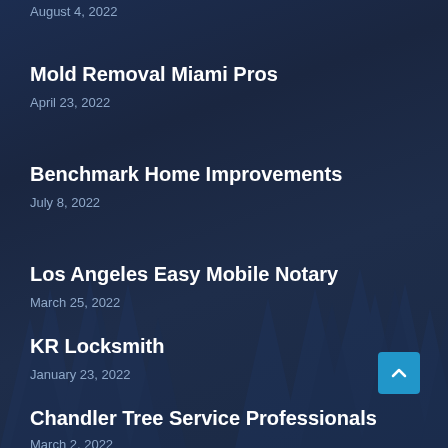August 4, 2022
Mold Removal Miami Pros
April 23, 2022
Benchmark Home Improvements
July 8, 2022
Los Angeles Easy Mobile Notary
March 25, 2022
KR Locksmith
January 23, 2022
Chandler Tree Service Professionals
March 2, 2022